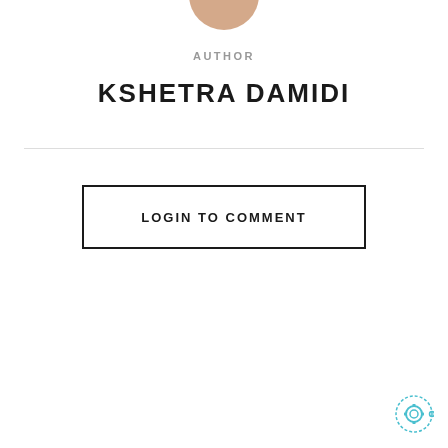[Figure (illustration): Partial view of a circular avatar/profile image in beige/tan color, cropped at the top of the page]
AUTHOR
KSHETRA DAMIDI
LOGIN TO COMMENT
[Figure (logo): Small circular logo with gear/cog icon in teal/blue outline style at bottom right corner]